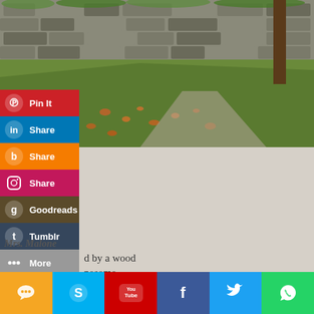[Figure (photo): Outdoor photo of a dry stone wall with green mossy top, grass slope, and fallen autumn leaves on a gravel path]
[Figure (infographic): Social media sharing buttons sidebar: Pinterest Pin It (red), LinkedIn Share (blue), Blogger Share (orange), Instagram Share (pink/magenta), Goodreads (dark olive), Tumblr (dark blue-grey), More (grey)]
Mrs. Malone
d by a wood
nesome
As nobody should.
[Figure (infographic): Bottom social media icon bar: Chat/Messages (orange), Skype (light blue), YouTube (red), Facebook (dark blue), Twitter (light blue), WhatsApp (green)]